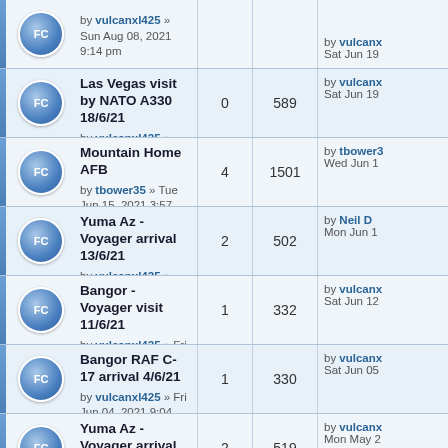| Topic | Replies | Views | Last post |
| --- | --- | --- | --- |
| [partial] by vulcanxl425 » Sun Aug 08, 2021 9:14 pm |  |  |  |
| Las Vegas visit by NATO A330 18/6/21 by vulcanxl425 » Sat Jun 19, 2021 8:40 am | 0 | 589 | by vulcanxl425 Sat Jun 19 |
| Mountain Home AFB by tbower35 » Tue Jun 15, 2021 3:57 pm | 4 | 1501 | by tbower35 Wed Jun 1 |
| Yuma Az - Voyager arrival 13/6/21 by vulcanxl425 » Sun Jun 13, 2021 7:03 pm | 2 | 502 | by Neil D Mon Jun 1 |
| Bangor - Voyager visit 11/6/21 by vulcanxl425 » Fri Jun 11, 2021 8:16 pm | 1 | 332 | by vulcanxl Sat Jun 12 |
| Bangor RAF C-17 arrival 4/6/21 by vulcanxl425 » Fri Jun 04, 2021 9:04 pm | 1 | 330 | by vulcanxl Sat Jun 05 |
| Yuma Az - Voyager arrival Saturday 22/5/21 by vulcanxl425 » Sun May 23, 2021 7:53 am | 2 | 519 | by vulcanxl Mon May 2 |
| Bangor RAF C-17 arrival 20/5/21 ... | 0 | 311 | by vulcanxl Thu May |